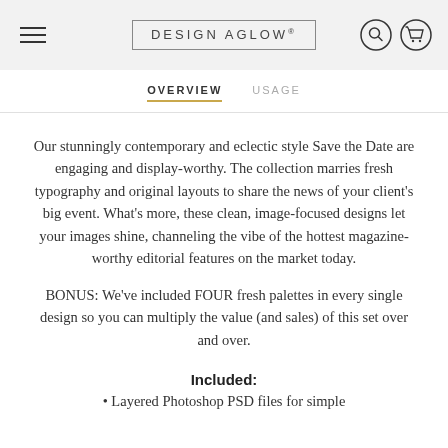DESIGN AGLOW®
OVERVIEW
USAGE
Our stunningly contemporary and eclectic style Save the Date are engaging and display-worthy. The collection marries fresh typography and original layouts to share the news of your client's big event. What's more, these clean, image-focused designs let your images shine, channeling the vibe of the hottest magazine-worthy editorial features on the market today.
BONUS: We've included FOUR fresh palettes in every single design so you can multiply the value (and sales) of this set over and over.
Included:
• Layered Photoshop PSD files for simple